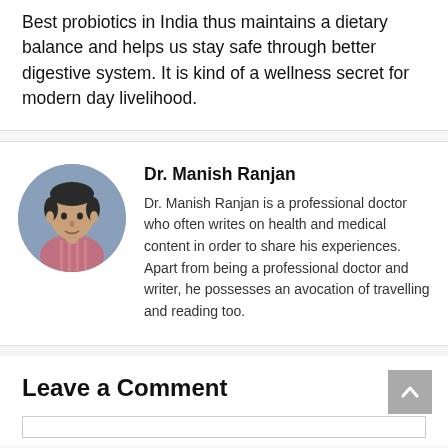Best probiotics in India thus maintains a dietary balance and helps us stay safe through better digestive system. It is kind of a wellness secret for modern day livelihood.
[Figure (photo): Circular portrait photo of Dr. Manish Ranjan, a man wearing a pink striped shirt, with a blue-grey background.]
Dr. Manish Ranjan
Dr. Manish Ranjan is a professional doctor who often writes on health and medical content in order to share his experiences. Apart from being a professional doctor and writer, he possesses an avocation of travelling and reading too.
Leave a Comment